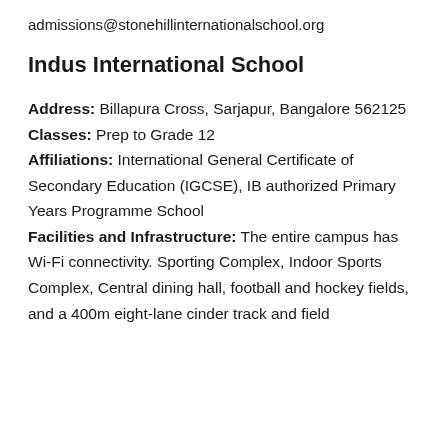admissions@stonehillinternationalschool.org
Indus International School
Address: Billapura Cross, Sarjapur, Bangalore 562125
Classes: Prep to Grade 12
Affiliations: International General Certificate of Secondary Education (IGCSE), IB authorized Primary Years Programme School
Facilities and Infrastructure: The entire campus has Wi-Fi connectivity. Sporting Complex, Indoor Sports Complex, Central dining hall, football and hockey fields, and a 400m eight-lane cinder track and field